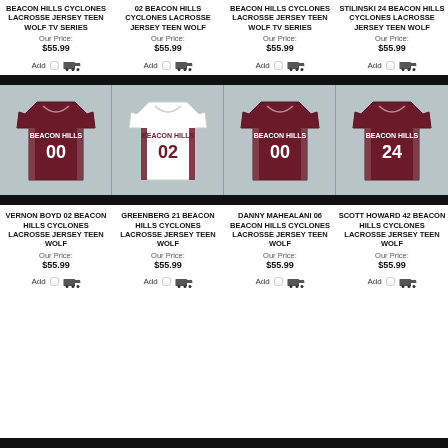BEACON HILLS CYCLONES LACROSSE JERSEY TEEN WOLF TV SERIES
Our Price: $55.99
02 BEACON HILLS CYCLONES LACROSSE JERSEY TEEN WOLF
Our Price: $55.99
BEACON HILLS CYCLONES LACROSSE JERSEY TEEN WOLF TV SERIES
Our Price: $55.99
STILINSKI 24 BEACON HILLS CYCLONES LACROSSE JERSEY TEEN WOLF
Our Price: $55.99
[Figure (photo): Four lacrosse jerseys: dark maroon #00, white #02, dark maroon #00, dark maroon #24]
VERNON BOYD 02 BEACON HILLS CYCLONES LACROSSE JERSEY TEEN WOLF
Our Price: $55.99
GREENBERG 21 BEACON HILLS CYCLONES LACROSSE JERSEY TEEN WOLF
Our Price: $55.99
DANNY MAHEALANI 06 BEACON HILLS CYCLONES LACROSSE JERSEY TEEN WOLF
Our Price: $55.99
SCOTT HOWARD 42 BEACON HILLS CYCLONES LACROSSE JERSEY TEEN WOLF
Our Price: $55.99